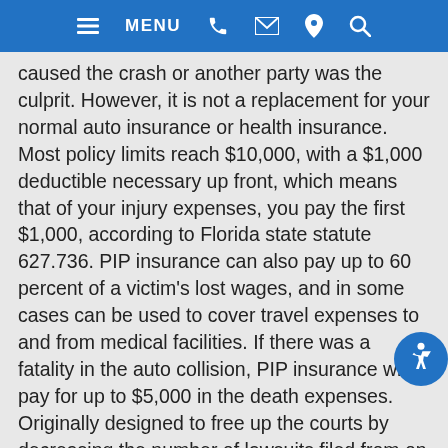MENU
caused the crash or another party was the culprit. However, it is not a replacement for your normal auto insurance or health insurance. Most policy limits reach $10,000, with a $1,000 deductible necessary up front, which means that of your injury expenses, you pay the first $1,000, according to Florida state statute 627.736. PIP insurance can also pay up to 60 percent of a victim's lost wages, and in some cases can be used to cover travel expenses to and from medical facilities. If there was a fatality in the auto collision, PIP insurance will pay for up to $5,000 in the death expenses. Originally designed to free up the courts by decreasing the number of lawsuits filed from on driver to another, acquiring PIP insurance does not mean that you won't be able to file suit against the liable party. In fact, because the average cost of medical expenses in a car accident greatly exceeds the PIP